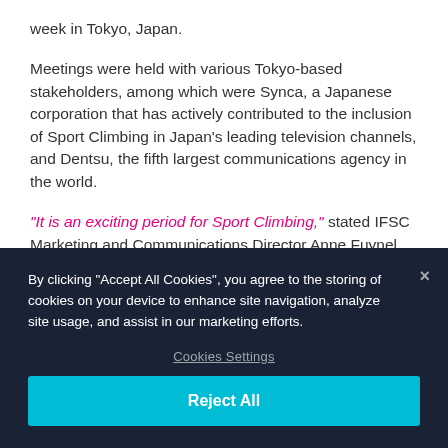week in Tokyo, Japan.
Meetings were held with various Tokyo-based stakeholders, among which were Synca, a Japanese corporation that has actively contributed to the inclusion of Sport Climbing in Japan's leading television channels, and Dentsu, the fifth largest communications agency in the world.
“It is an exciting period for Sport Climbing,” stated IFSC Marketing and Communications Director Anne Fuynel. “The sport is receiving increased attention, confirming its attractiveness amongst younger generations and top
By clicking “Accept All Cookies”, you agree to the storing of cookies on your device to enhance site navigation, analyze site usage, and assist in our marketing efforts.
Cookies Settings
Reject All